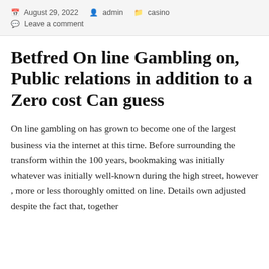August 29, 2022   admin   casino   Leave a comment
Betfred On line Gambling on, Public relations in addition to a Zero cost Can guess
On line gambling on has grown to become one of the largest business via the internet at this time. Before surrounding the transform within the 100 years, bookmaking was initially whatever was initially well-known during the high street, however , more or less thoroughly omitted on line. Details own adjusted despite the fact that, together